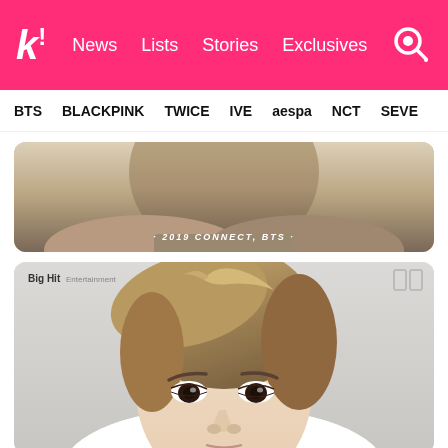k! News Lists Stories Exclusives [search]
BTS  BLACKPINK  TWICE  IVE  aespa  NCT  SEVE
[Figure (photo): Partial view of back of person's head with brown/tan hair, text overlay reading '· 2019 CONNECT, BTS ·' in italic white text on a brown background]
[Figure (photo): Close-up portrait photo of a young East Asian man with medium-length brown hair swept to the side, wearing white, against a light gray background. BigHit Entertainment logo in top left, BTS logo (double rectangle) in top right.]